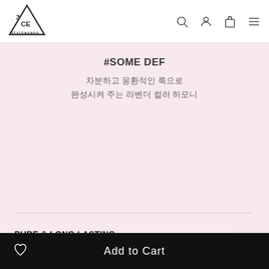[Figure (logo): 3CE STYLENANDA triangle logo]
#SOME DEF
차분하고 몽환적인 룩으로
완성시켜 주는 라벤더 컬러 하모니
PURE & LONG LASTING
파우더 특유의 텁텁함을 걷어내서 맑고 투명하게 발색되며 세범 컨트롤 파우더를 사용하여 크리즈 없는 깨끗한 아이 메이크업으로 유지시켜 줍니다.
TOK-TOK MELTING SPARKLING
Add to Cart